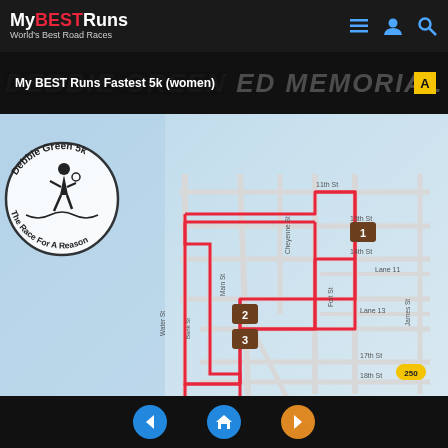My BEST Runs – World's Best Road Races
My BEST Runs Fastest 5k (women)
[Figure (map): Street map showing the Debbie Green Memorial 5k race course route marked in red, with numbered mile markers 1-5 on a city street grid. The race logo circle on the left reads 'Debbie Green 5k – The Race For A Reason' with a runner silhouette.]
Navigation: Previous | Home | Next